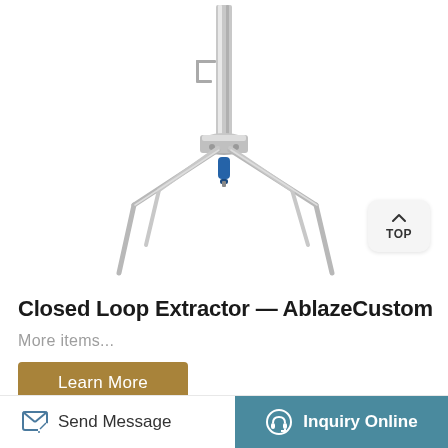[Figure (photo): Stainless steel closed loop extractor apparatus with a vertical central tube, a central fitting hub with blue valve, and four outward-angled support legs, photographed on white background]
Closed Loop Extractor — AblazeCustom
More items...
Learn More
Send Message   Inquiry Online